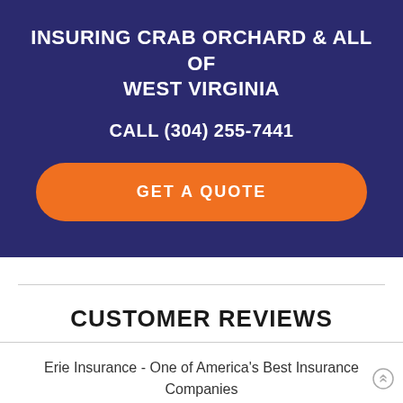INSURING CRAB ORCHARD & ALL OF WEST VIRGINIA
CALL (304) 255-7441
GET A QUOTE
CUSTOMER REVIEWS
Erie Insurance - One of America's Best Insurance Companies